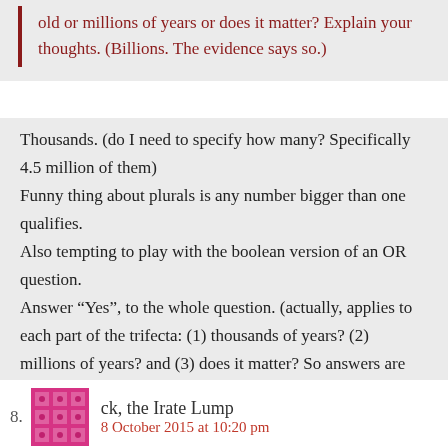old or millions of years or does it matter? Explain your thoughts. (Billions. The evidence says so.)
Thousands. (do I need to specify how many? Specifically 4.5 million of them)
Funny thing about plurals is any number bigger than one qualifies.
Also tempting to play with the boolean version of an OR question.
Answer “Yes”, to the whole question. (actually, applies to each part of the trifecta: (1) thousands of years? (2) millions of years? and (3) does it matter? So answers are (1) yes, (2) yes), (3) yes.
8. ck, the Irate Lump
8 October 2015 at 10:20 pm